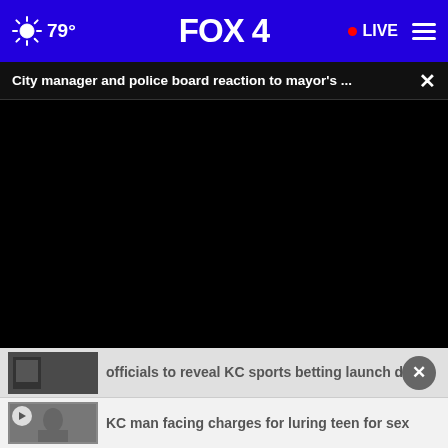79° FOX 4 • LIVE
City manager and police board reaction to mayor's ...
[Figure (screenshot): Black video player area (video not loaded)]
officials to reveal KC sports betting launch date
KC man facing charges for luring teen for sex